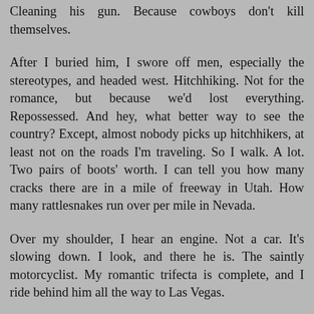Cleaning his gun. Because cowboys don't kill themselves.
After I buried him, I swore off men, especially the stereotypes, and headed west. Hitchhiking. Not for the romance, but because we'd lost everything. Repossessed. And hey, what better way to see the country? Except, almost nobody picks up hitchhikers, at least not on the roads I'm traveling. So I walk. A lot. Two pairs of boots' worth. I can tell you how many cracks there are in a mile of freeway in Utah. How many rattlesnakes run over per mile in Nevada.
Over my shoulder, I hear an engine. Not a car. It's slowing down. I look, and there he is. The saintly motorcyclist. My romantic trifecta is complete, and I ride behind him all the way to Las Vegas.
He asks me to marry him. We can do that now. His name is Jack, and I tell him no.
He tells me he's a writer, and I tell him yes.
Sometimes stereotypes are stereotypes because they're